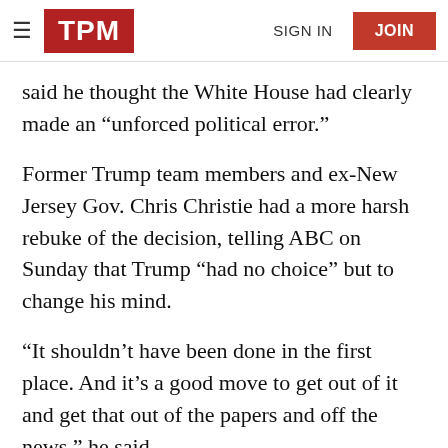TPM | SIGN IN | JOIN
said he thought the White House had clearly made an “unforced political error.”
Former Trump team members and ex-New Jersey Gov. Chris Christie had a more harsh rebuke of the decision, telling ABC on Sunday that Trump “had no choice” but to change his mind.
“It shouldn’t have been done in the first place. And it’s a good move to get out of it and get that out of the papers and off the news,” he said.
[Figure (other): Social sharing icons: Facebook, Twitter, Email, and a comment count bubble showing 156]